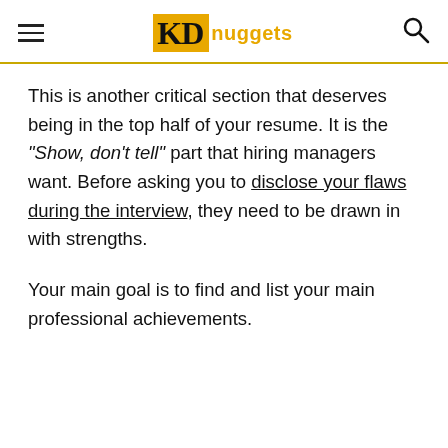KDnuggets
This is another critical section that deserves being in the top half of your resume. It is the “Show, don’t tell” part that hiring managers want. Before asking you to disclose your flaws during the interview, they need to be drawn in with strengths.
Your main goal is to find and list your main professional achievements.